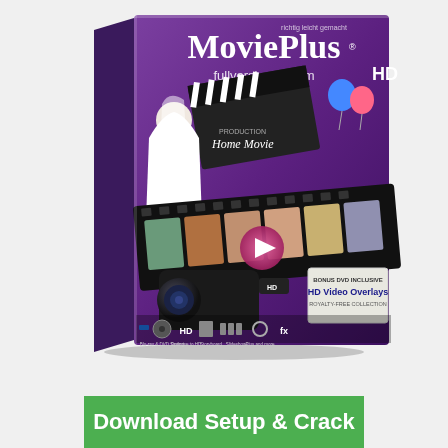[Figure (illustration): Software product box for 'MoviePlus HD' by Serif. Purple gradient box showing a clapperboard labeled 'Home Movie', a bride, balloons, film strip with family photos, HD video camera, and icons for features like Blu-ray/DVD Saving, Optimise to HD, Storyboard, Slideshow, Plus and more. Also shows 'BONUS DVD INCLUSIVE HD Video Overlays ROYALTY-FREE COLLECTION'. Watermark text: fullversion4u.com]
Download Setup & Crack